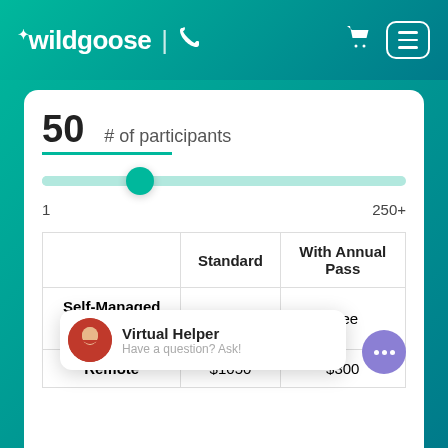wildgoose
[Figure (infographic): Participant count slider showing value 50, range 1 to 250+]
|  | Standard | With Annual Pass |
| --- | --- | --- |
| Self-Managed (i) | $750 | Free |
| Remote | $1050 | $300 |
[Figure (other): Virtual Helper chat widget with avatar photo and 'Have a question? Ask!' text]